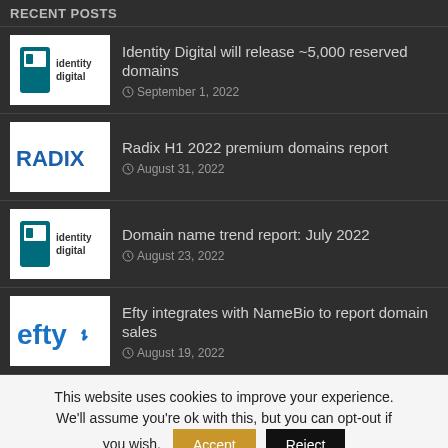RECENT POSTS
Identity Digital will release ~5,000 reserved domains
September 1, 2022
Radix H1 2022 premium domains report
August 31, 2022
Domain name trend report: July 2022
August 23, 2022
Efty integrates with NameBio to report domain sales
August 19, 2022
This website uses cookies to improve your experience. We'll assume you're ok with this, but you can opt-out if you wish. Accept Reject